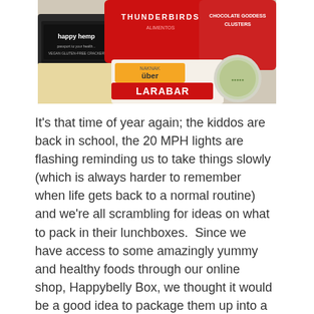[Figure (photo): A photo of various healthy snack food packages including Happy Hemp, Thunderbirds, Chocolate Goddess Clusters, Larabar Uber, and other snack items arranged on a tray.]
It's that time of year again; the kiddos are back in school, the 20 MPH lights are flashing reminding us to take things slowly (which is always harder to remember when life gets back to a normal routine) and we're all scrambling for ideas on what to pack in their lunchboxes.  Since we have access to some amazingly yummy and healthy foods through our online shop, Happybelly Box, we thought it would be a good idea to package them up into a nice little giveaway for you. Then, when